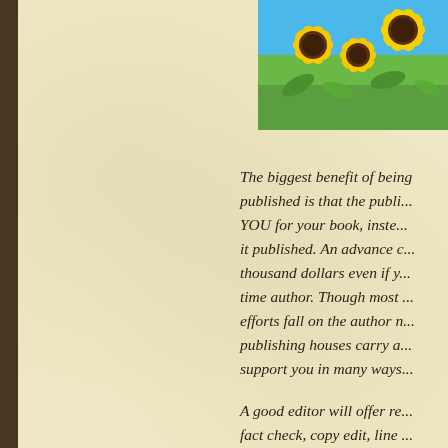[Figure (photo): Sunflowers with yellow petals against a blue sky background, photo cropped in upper right corner]
The biggest benefit of being published is that the publisher pays YOU for your book, instead of you paying to get it published. An advance can be several thousand dollars even if you are a first-time author. Though most marketing efforts fall on the author nowadays, publishing houses carry a prestige and support you in many ways.
A good editor will offer rewrites, fact check, copy edit, line edit and other things to elevate you